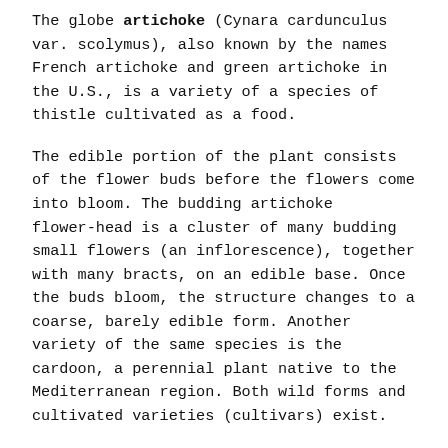The globe artichoke (Cynara cardunculus var. scolymus), also known by the names French artichoke and green artichoke in the U.S., is a variety of a species of thistle cultivated as a food.
The edible portion of the plant consists of the flower buds before the flowers come into bloom. The budding artichoke flower-head is a cluster of many budding small flowers (an inflorescence), together with many bracts, on an edible base. Once the buds bloom, the structure changes to a coarse, barely edible form. Another variety of the same species is the cardoon, a perennial plant native to the Mediterranean region. Both wild forms and cultivated varieties (cultivars) exist.